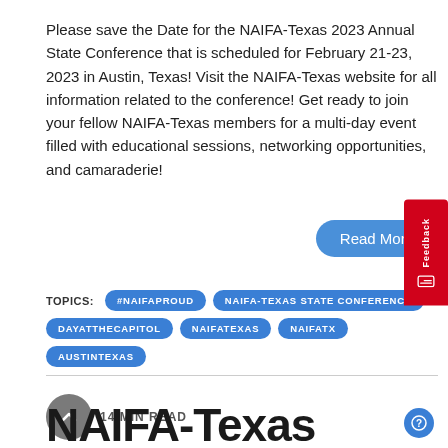Please save the Date for the NAIFA-Texas 2023 Annual State Conference that is scheduled for February 21-23, 2023 in Austin, Texas! Visit the NAIFA-Texas website for all information related to the conference! Get ready to join your fellow NAIFA-Texas members for a multi-day event filled with educational sessions, networking opportunities, and camaraderie!
Read More
TOPICS: #NAIFAPROUD  NAIFA-TEXAS STATE CONFERENCE  DAYATTHECAPITOL  NAIFATEXAS  NAIFATX  AUSTINTEXAS
14 MIN READ
NAIFA-Texas